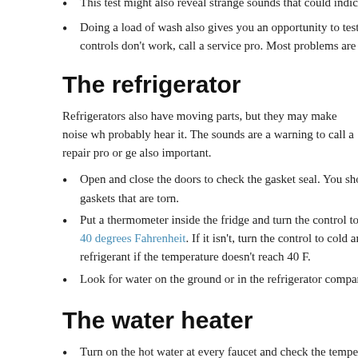This test might also reveal strange sounds that could indicate
Doing a load of wash also gives you an opportunity to test the the controls don't work, call a service pro. Most problems are f
The refrigerator
Refrigerators also have moving parts, but they may make noise wh probably hear it. The sounds are a warning to call a repair pro or ge also important.
Open and close the doors to check the gasket seal. You shou gaskets that are torn.
Put a thermometer inside the fridge and turn the control to mi be 40 degrees Fahrenheit. If it isn't, turn the control to cold an refrigerant if the temperature doesn't reach 40 F.
Look for water on the ground or in the refrigerator compartmen
The water heater
Turn on the hot water at every faucet and check the temperatu
Take a careful look at the color of the water. Cooler-than-expe the water heater.
Get it flushed before tenants move in to avoid water quality p